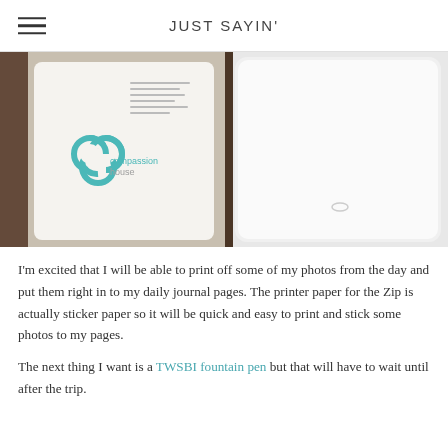JUST SAYIN'
[Figure (photo): A business card from 'compassion house' with a teal logo placed on a dark brown surface next to a white device (printer or phone) viewed from above.]
I'm excited that I will be able to print off some of my photos from the day and put them right in to my daily journal pages. The printer paper for the Zip is actually sticker paper so it will be quick and easy to print and stick some photos to my pages.
The next thing I want is a TWSBI fountain pen but that will have to wait until after the trip.